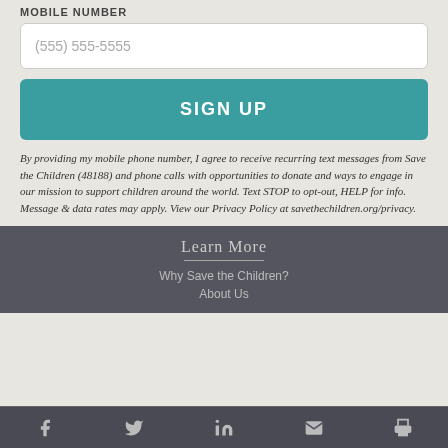MOBILE NUMBER
(555) 555-5555
SIGN UP
By providing my mobile phone number, I agree to receive recurring text messages from Save the Children (48188) and phone calls with opportunities to donate and ways to engage in our mission to support children around the world. Text STOP to opt-out, HELP for info. Message & data rates may apply. View our Privacy Policy at savethechildren.org/privacy.
Learn More
Why Save the Children?
About Us
f  twitter  in  mail  print